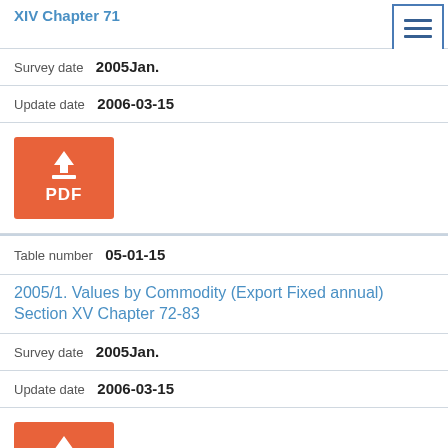XIV Chapter 71
Survey date  2005Jan.
Update date  2006-03-15
[Figure (other): PDF download button (orange)]
Table number  05-01-15
2005/1. Values by Commodity (Export Fixed annual) Section XV Chapter 72-83
Survey date  2005Jan.
Update date  2006-03-15
[Figure (other): PDF download button (orange)]
Table number  05-01-16